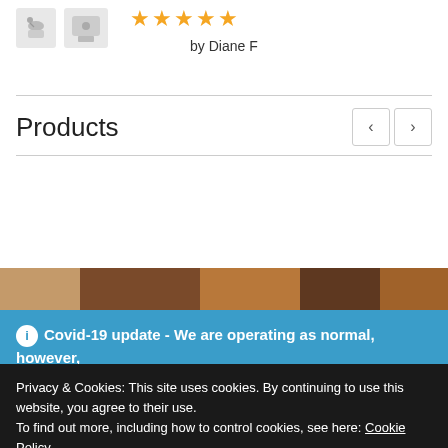[Figure (screenshot): Two small product images (earphones/charger adapters) shown at top left]
★★★★★
by Diane F
Products
[Figure (photo): Partial product image strip visible at bottom of white section]
ℹ Covid-19 update - We are operating as normal, however, please note that deliveries are being delayed significantly by our courier service so we ask all customers to be patient
Privacy & Cookies: This site uses cookies. By continuing to use this website, you agree to their use.
To find out more, including how to control cookies, see here: Cookie Policy
Close and accept